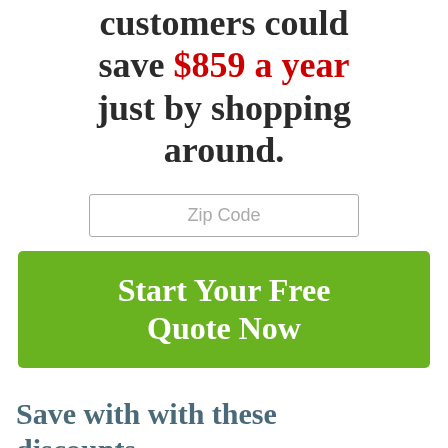customers could save $859 a year just by shopping around.
Zip Code
Start Your Free Quote Now
Save with with these discounts